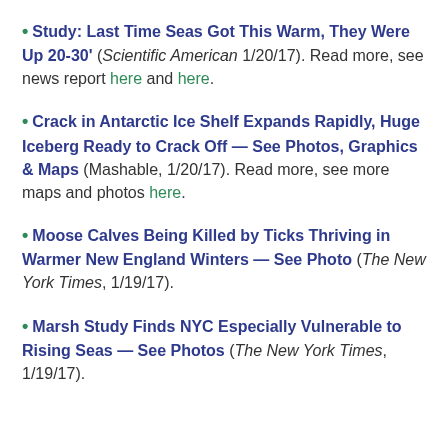• Study: Last Time Seas Got This Warm, They Were Up 20-30' (Scientific American 1/20/17). Read more, see news report here and here.
• Crack in Antarctic Ice Shelf Expands Rapidly, Huge Iceberg Ready to Crack Off — See Photos, Graphics & Maps (Mashable, 1/20/17). Read more, see more maps and photos here.
• Moose Calves Being Killed by Ticks Thriving in Warmer New England Winters — See Photo (The New York Times, 1/19/17).
• Marsh Study Finds NYC Especially Vulnerable to Rising Seas — See Photos (The New York Times, 1/19/17).